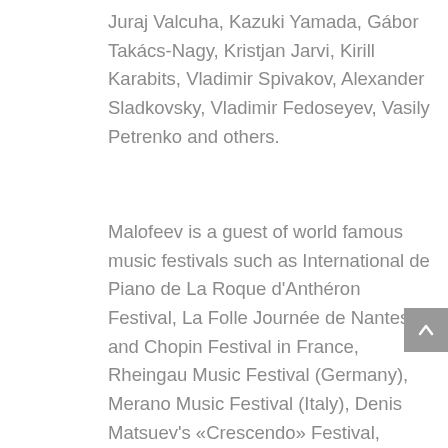Juraj Valcuha, Kazuki Yamada, Gábor Takács-Nagy, Kristjan Jarvi, Kirill Karabits, Vladimir Spivakov, Alexander Sladkovsky, Vladimir Fedoseyev, Vasily Petrenko and others.
Malofeev is a guest of world famous music festivals such as International de Piano de La Roque d'Anthéron Festival, La Folle Journée de Nantes and Chopin Festival in France, Rheingau Music Festival (Germany), Merano Music Festival (Italy), Denis Matsuev's «Crescendo» Festival, Mikkeli Music Festival (Finland) , Mariinsky International Piano Festival (St.